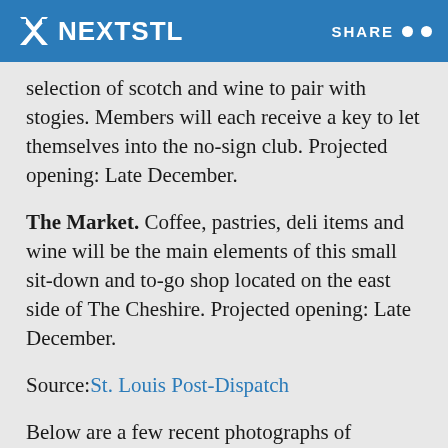NEXTSTL  SHARE
selection of scotch and wine to pair with stogies. Members will each receive a key to let themselves into the no-sign club. Projected opening: Late December.
The Market. Coffee, pastries, deli items and wine will be the main elements of this small sit-down and to-go shop located on the east side of The Cheshire. Projected opening: Late December.
Source: St. Louis Post-Dispatch
Below are a few recent photographs of construction activity: